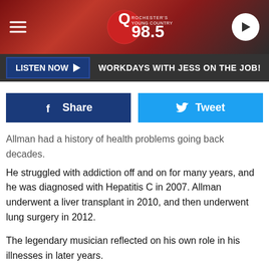[Figure (screenshot): Q98.5 radio station website header with logo and navigation]
LISTEN NOW ▶   WORKDAYS WITH JESS ON THE JOB!
[Figure (other): Share and Tweet social media buttons]
Allman had a history of health problems going back decades. He struggled with addiction off and on for many years, and he was diagnosed with Hepatitis C in 2007. Allman underwent a liver transplant in 2010, and then underwent lung surgery in 2012.
The legendary musician reflected on his own role in his illnesses in later years.
“My generation, we were all just such heavy drug takers,” he admitted to Stuff in 2011. “We didn’t know no different. We didn’t know no other way. It was what we did. And that’s